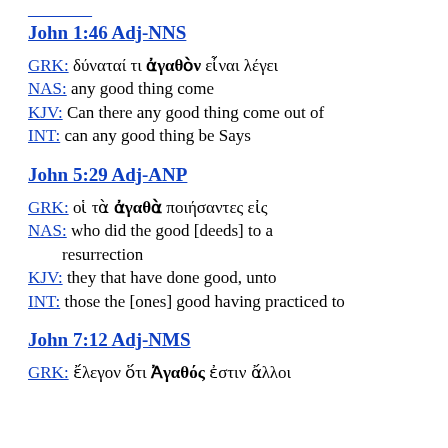John 1:46 Adj-NNS
GRK: δύναταί τι ἀγαθὸν εἶναι λέγει
NAS: any good thing come
KJV: Can there any good thing come out of
INT: can any good thing be Says
John 5:29 Adj-ANP
GRK: οἱ τὰ ἀγαθὰ ποιήσαντες εἰς
NAS: who did the good [deeds] to a resurrection
KJV: they that have done good, unto
INT: those the [ones] good having practiced to
John 7:12 Adj-NMS
GRK: ἔλεγον ὅτι Ἀγαθός ἐστιν ἄλλοι